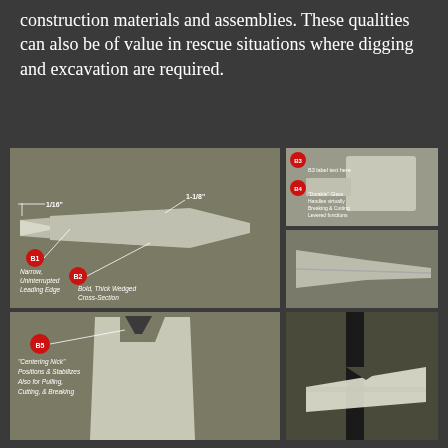construction materials and assemblies. These qualities can also be of value in rescue situations where digging and excavation are required.
[Figure (photo): Multi-panel photo showing a specialized tool/wedge blade with annotated features: B1 Narrow, Uninterrupted Leading Edge; B2 Bold, Thick Wedged Cross-Section; B3 (upper right, detail of head); B4 (lower right detail with 'Durable' label); B5 Centering Nick Positions & Stabilizes; Also for Pulling, Cutting & Breaking. Measurement annotations show 1/16" and 1-1/8" dimensions on the blade.]